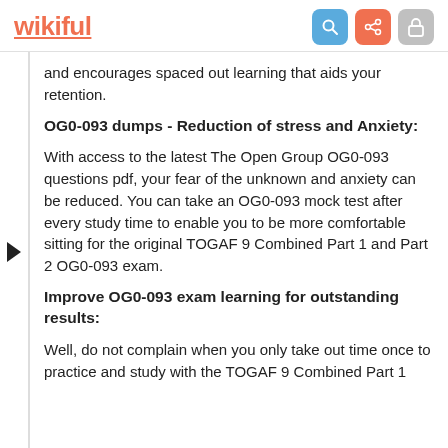wikiful
and encourages spaced out learning that aids your retention.
OG0-093 dumps - Reduction of stress and Anxiety:
With access to the latest The Open Group OG0-093 questions pdf, your fear of the unknown and anxiety can be reduced. You can take an OG0-093 mock test after every study time to enable you to be more comfortable sitting for the original TOGAF 9 Combined Part 1 and Part 2 OG0-093 exam.
Improve OG0-093 exam learning for outstanding results:
Well, do not complain when you only take out time once to practice and study with the TOGAF 9 Combined Part 1